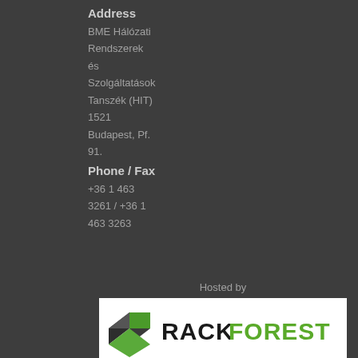Address
BME Hálózati Rendszerek és Szolgáltatások Tanszék (HIT) 1521 Budapest, Pf. 91.
Phone / Fax
+36 1 463 3261 / +36 1 463 3263
Hosted by
[Figure (logo): Rackforest logo with stylized green/dark server rack icon and RACKFOREST text in black and green]